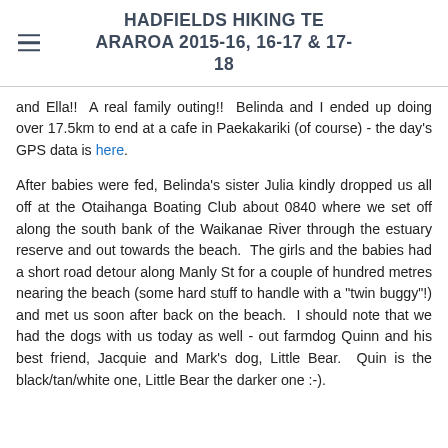HADFIELDS HIKING TE ARAROA 2015-16, 16-17 & 17-18
and Ella!!  A real family outing!!  Belinda and I ended up doing over 17.5km to end at a cafe in Paekakariki (of course) - the day's GPS data is here.
After babies were fed, Belinda's sister Julia kindly dropped us all off at the Otaihanga Boating Club about 0840 where we set off along the south bank of the Waikanae River through the estuary reserve and out towards the beach.  The girls and the babies had a short road detour along Manly St for a couple of hundred metres nearing the beach (some hard stuff to handle with a "twin buggy"!) and met us soon after back on the beach.  I should note that we had the dogs with us today as well - out farmdog Quinn and his best friend, Jacquie and Mark's dog, Little Bear.  Quin is the black/tan/white one, Little Bear the darker one :-).